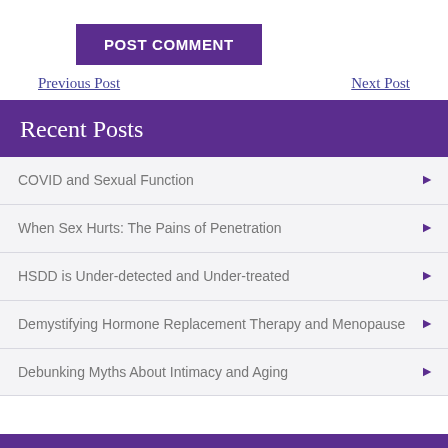POST COMMENT
Previous Post
Next Post
Recent Posts
COVID and Sexual Function
When Sex Hurts: The Pains of Penetration
HSDD is Under-detected and Under-treated
Demystifying Hormone Replacement Therapy and Menopause
Debunking Myths About Intimacy and Aging